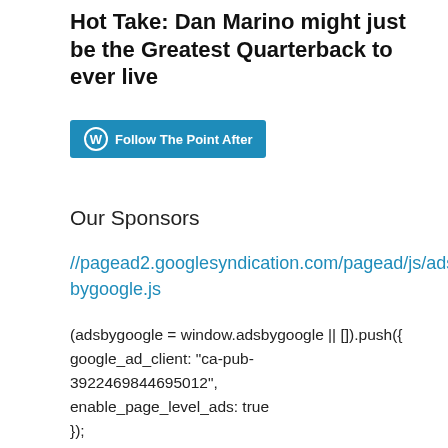Hot Take: Dan Marino might just be the Greatest Quarterback to ever live
[Figure (other): WordPress Follow button: Follow The Point After]
Our Sponsors
//pagead2.googlesyndication.com/pagead/js/adsbygoogle.js
(adsbygoogle = window.adsbygoogle || []).push({ google_ad_client: "ca-pub-3922469844695012", enable_page_level_ads: true });